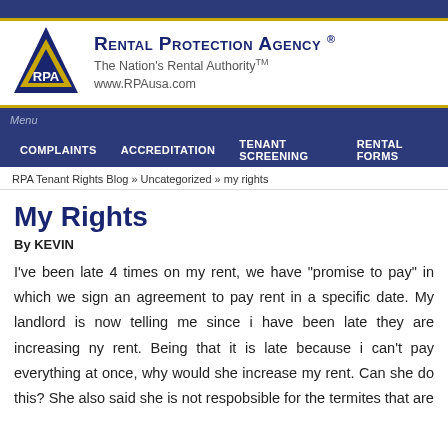Rental Protection Agency® — The Nation's Rental Authority™ — www.RPAusa.com
Menu | COMPLAINTS | ACCREDITATION | TENANT SCREENING | RENTAL FORMS
RPA Tenant Rights Blog » Uncategorized » my rights
My Rights
By KEVIN
I've been late 4 times on my rent, we have "promise to pay" in which we sign an agreement to pay rent in a specific date. My landlord is now telling me since i have been late they are increasing ny rent. Being that it is late because i can't pay everything at once, why would she increase my rent. Can she do this? She also said she is not respobsible for the termites that are